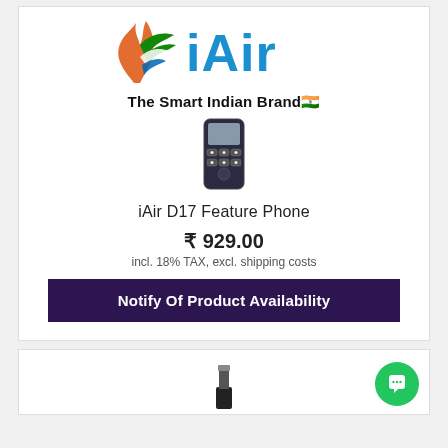[Figure (logo): iAir brand logo with Indian tricolor flame/wing icon and blue iAir text]
The Smart Indian Brand🇮🇳
[Figure (photo): iAir D17 feature phone product image showing keypad]
iAir D17 Feature Phone
₹929.00
incl. 18% TAX, excl. shipping costs
Notify Of Product Availability
[Figure (photo): Partial product image at bottom of page, second product card]
[Figure (other): Green chat bubble icon in bottom-right of second card]